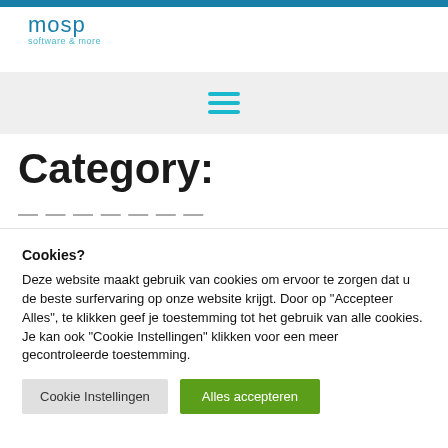[Figure (logo): mosp software & more logo in teal/blue color]
[Figure (other): Hamburger menu icon with three teal horizontal lines]
Category:
Cookies?
Deze website maakt gebruik van cookies om ervoor te zorgen dat u de beste surfervaring op onze website krijgt. Door op "Accepteer Alles", te klikken geef je toestemming tot het gebruik van alle cookies. Je kan ook "Cookie Instellingen" klikken voor een meer gecontroleerde toestemming.
Cookie Instellingen | Alles accepteren